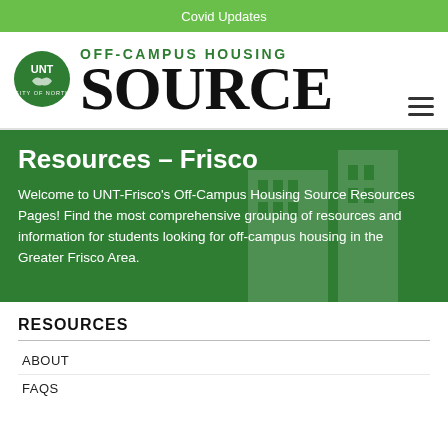Covid Updates
[Figure (logo): UNT Off-Campus Housing Source logo with UNT circular green emblem and large serif SOURCE text]
Resources – Frisco
Welcome to UNT-Frisco's Off-Campus Housing Source Resources Pages! Find the most comprehensive grouping of resources and information for students looking for off-campus housing in the Greater Frisco Area.
RESOURCES
ABOUT
FAQS